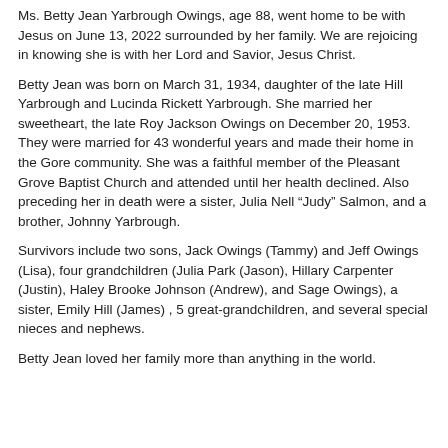Ms. Betty Jean Yarbrough Owings, age 88, went home to be with Jesus on June 13, 2022 surrounded by her family. We are rejoicing in knowing she is with her Lord and Savior, Jesus Christ.
Betty Jean was born on March 31, 1934, daughter of the late Hill Yarbrough and Lucinda Rickett Yarbrough. She married her sweetheart, the late Roy Jackson Owings on December 20, 1953. They were married for 43 wonderful years and made their home in the Gore community. She was a faithful member of the Pleasant Grove Baptist Church and attended until her health declined. Also preceding her in death were a sister, Julia Nell “Judy” Salmon, and a brother, Johnny Yarbrough.
Survivors include two sons, Jack Owings (Tammy) and Jeff Owings (Lisa), four grandchildren (Julia Park (Jason), Hillary Carpenter (Justin), Haley Brooke Johnson (Andrew), and Sage Owings), a sister, Emily Hill (James) , 5 great-grandchildren, and several special nieces and nephews.
Betty Jean loved her family more than anything in the world.